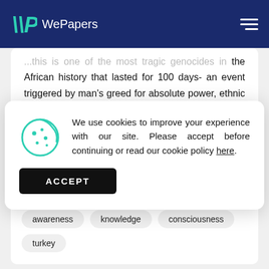WePapers
...this is one of the most tragic genocides in the African history that lasted for 100 days- an event triggered by man's greed for absolute power, ethnic superiority, religious conflicts and
[Figure (other): Cookie consent modal with cookie icon, text about cookies, and an ACCEPT button]
awareness
knowledge
consciousness
turkey